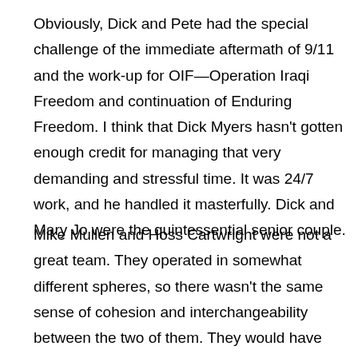Obviously, Dick and Pete had the special challenge of the immediate aftermath of 9/11 and the work-up for OIF—Operation Iraqi Freedom and continuation of Enduring Freedom. I think that Dick Myers hasn't gotten enough credit for managing that very demanding and stressful time. It was 24/7 work, and he handled it masterfully. Dick and Mary Jo were the quintessential senior couple.
Mike Mullen and Hoss Cartwright were not a great team. They operated in somewhat different spheres, so there wasn't the same sense of cohesion and interchangeability between the two of them. They would have somewhat different angles on things. It was a little bit more difficult both as a service chief and